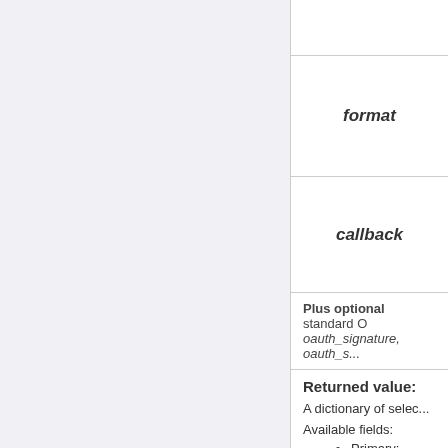| format | callback |
| --- | --- |
| format | callback |
Plus optional standard OAuth oauth_signature, oauth_s...
Returned value:
A dictionary of selec...
Available fields:
Primary:
id - unit's
course_n...